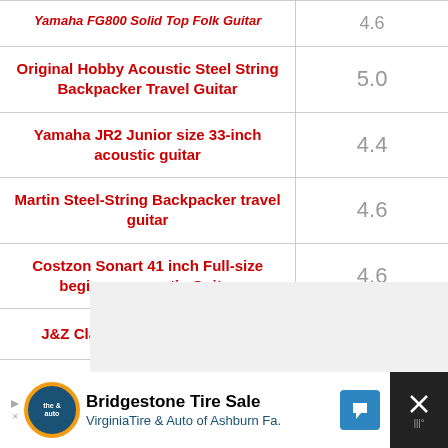| Product | Rating |
| --- | --- |
| Original Hobby Acoustic Steel String Backpacker Travel Guitar | 5.0 |
| Yamaha JR2 Junior size 33-inch acoustic guitar | 4.4 |
| Martin Steel-String Backpacker travel guitar | 4.6 |
| Costzon Sonart 41 inch Full-size beginner acoustic Guitar | 4.6 |
| J&Z Classical Acoustic Guitar | 4.5 |
[Figure (other): Advertisement banner: Bridgestone Tire Sale - VirginiaTire & Auto of Ashburn Fa.]